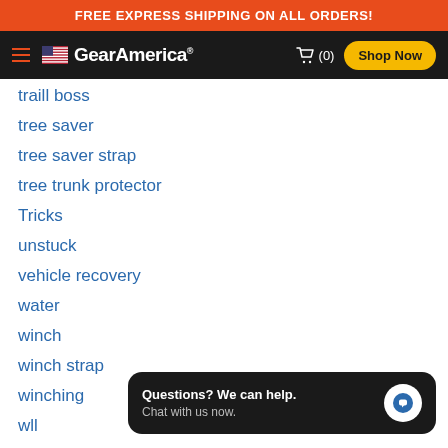FREE EXPRESS SHIPPING ON ALL ORDERS!
[Figure (screenshot): GearAmerica website navigation bar with hamburger menu, US flag logo, cart icon showing (0), and yellow Shop Now button]
traill boss
tree saver
tree saver strap
tree trunk protector
Tricks
unstuck
vehicle recovery
water
winch
winch strap
winching
wll
zerk
zerk fitting
Questions? We can help. Chat with us now.